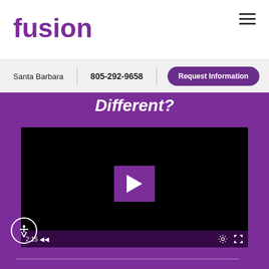fusion
Santa Barbara | 805-292-9658 | Request Information
Different?
[Figure (screenshot): Embedded video player with black background, purple play button overlay in center, controls bar at bottom showing 2:15 timestamp and settings/fullscreen icons]
2:15